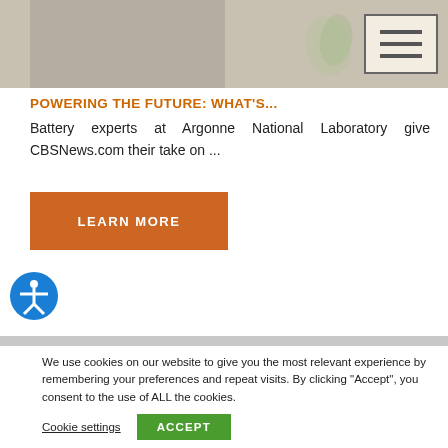[Figure (photo): Top banner image area showing a partial photo (muted tones) with a navigation hamburger menu button in the top right corner]
POWERING THE FUTURE: WHAT'S...
Battery experts at Argonne National Laboratory give CBSNews.com their take on ...
LEARN MORE
We use cookies on our website to give you the most relevant experience by remembering your preferences and repeat visits. By clicking "Accept", you consent to the use of ALL the cookies.
Cookie settings
ACCEPT